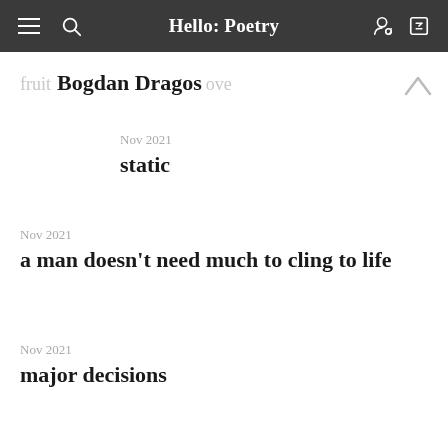Hello: Poetry
Bogdan Dragos
Nov 2021
static
Nov 2021
a man doesn’t need much to cling to life
Nov 2021
major decisions